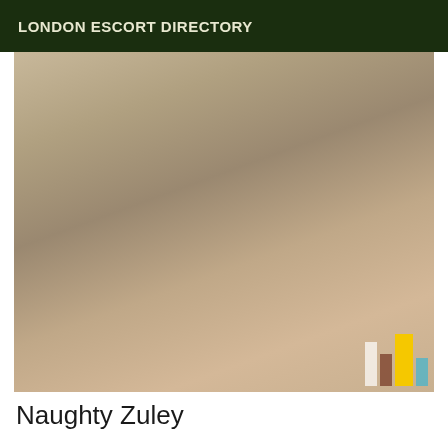LONDON ESCORT DIRECTORY
[Figure (photo): A woman posing in a costume holding a flogger/whip, wearing fishnet stockings and a black and white outfit.]
Naughty Zuley